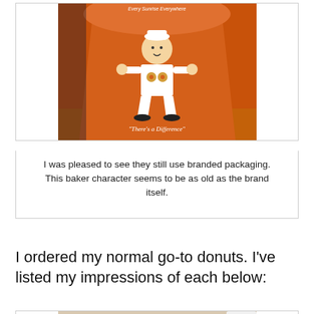[Figure (photo): Orange Sunbelt Bakery branded paper bag featuring a cartoon baker character holding donuts, with text 'Every Sunrise Everywhere' at top and '"There's a Difference"' at bottom]
I was pleased to see they still use branded packaging. This baker character seems to be as old as the brand itself.
I ordered my normal go-to donuts. I've listed my impressions of each below:
[Figure (photo): A powdered sugar donut on a light surface, heavily coated in white powdered sugar with some brown spots showing through]